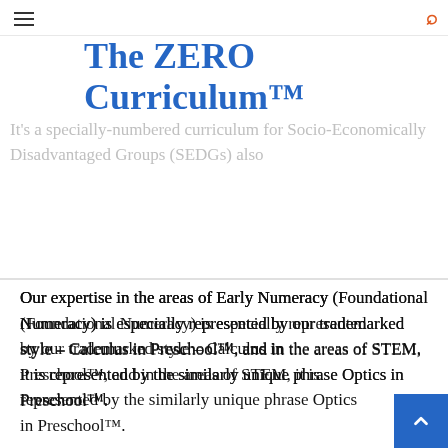flashcards
The ZERO Curriculum™
It's a specially-numbered curriculum for Socio-Economically Disadvantaged Groups (SEDGs) also...
Our expertise in the areas of Early Numeracy (Foundational Numeracy) is especially represented by our trademarked style – Calculus in Preschool™, and in the areas of STEM, it is represented by the similarly unique phrase Optics in Preschool™.
Through our Curriculum, Training, and Assessment solutions we develop a unique ecosystem of education, whereby our emphasis is more on how the student experiences the curriculum, more than how teachers deliver it. Read about our Features, Attributes, Advantages, and Benefits, here – Read More